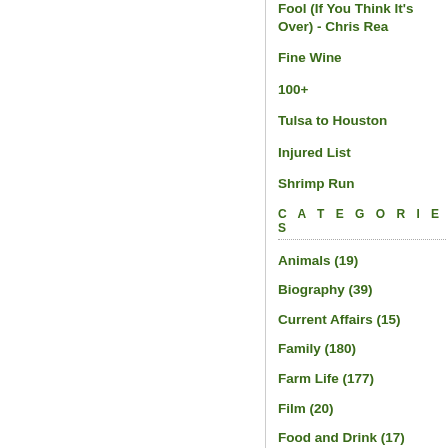Fool (If You Think It's Over) - Chris Rea
Fine Wine
100+
Tulsa to Houston
Injured List
Shrimp Run
CATEGORIES
Animals (19)
Biography (39)
Current Affairs (15)
Family (180)
Farm Life (177)
Film (20)
Food and Drink (17)
Friday Sock Hop (185)
Friends (22)
Games (1)